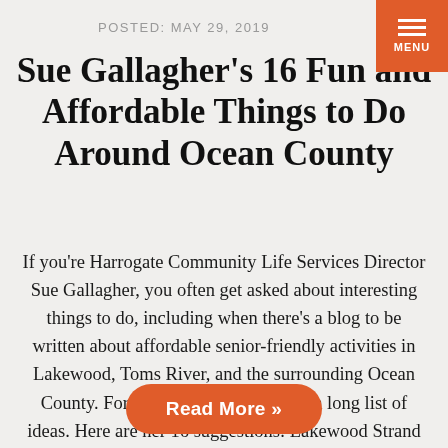POSTED: MAY 29, 2019
Sue Gallagher's 16 Fun and Affordable Things to Do Around Ocean County
If you're Harrogate Community Life Services Director Sue Gallagher, you often get asked about interesting things to do, including when there's a blog to be written about affordable senior-friendly activities in Lakewood, Toms River, and the surrounding Ocean County. Fortunately, Sue always has a long list of ideas. Here are her 16 suggestions: Lakewood Strand …
Read More »